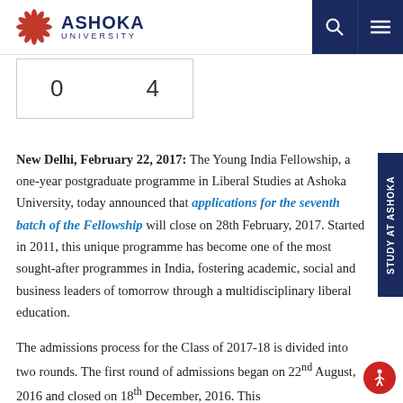Ashoka University
| 0 | 4 |
New Delhi, February 22, 2017: The Young India Fellowship, a one-year postgraduate programme in Liberal Studies at Ashoka University, today announced that applications for the seventh batch of the Fellowship will close on 28th February, 2017. Started in 2011, this unique programme has become one of the most sought-after programmes in India, fostering academic, social and business leaders of tomorrow through a multidisciplinary liberal education.
The admissions process for the Class of 2017-18 is divided into two rounds. The first round of admissions began on 22nd August, 2016 and closed on 18th December, 2016. This